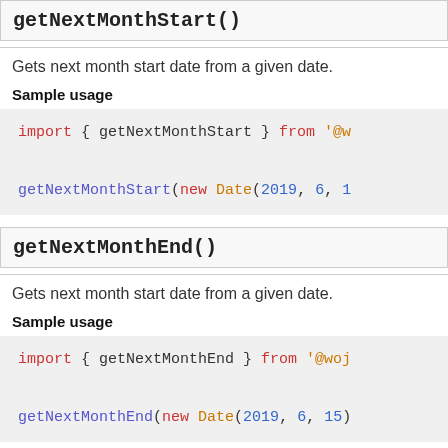getNextMonthStart()
Gets next month start date from a given date.
Sample usage
[Figure (screenshot): Code block showing: import { getNextMonthStart } from '@w... and getNextMonthStart(new Date(2019, 6, 1...]
getNextMonthEnd()
Gets next month start date from a given date.
Sample usage
[Figure (screenshot): Code block showing: import { getNextMonthEnd } from '@woj... and getNextMonthEnd(new Date(2019, 6, 15...]